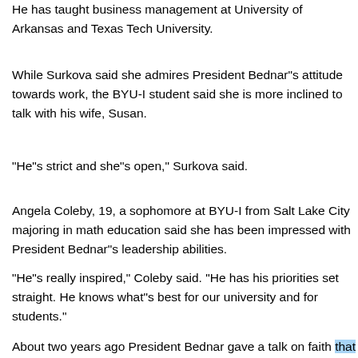He has taught business management at University of Arkansas and Texas Tech University.
While Surkova said she admires President Bednar’s attitude towards work, the BYU-I student said she is more inclined to talk with his wife, Susan.
“He’s strict and she’s open,” Surkova said.
Angela Coleby, 19, a sophomore at BYU-I from Salt Lake City majoring in math education said she has been impressed with President Bednar’s leadership abilities.
“He’s really inspired,” Coleby said. “He has his priorities set straight. He knows what’s best for our university and for students.”
About two years ago President Bednar gave a talk on faith that